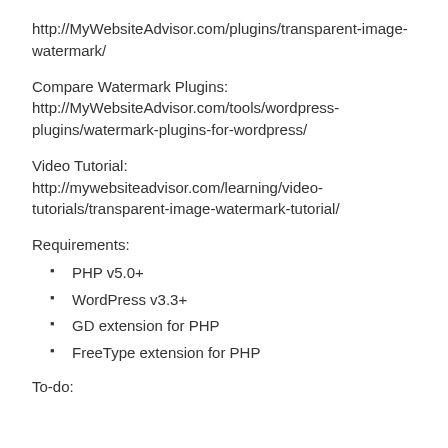http://MyWebsiteAdvisor.com/plugins/transparent-image-watermark/
Compare Watermark Plugins: http://MyWebsiteAdvisor.com/tools/wordpress-plugins/watermark-plugins-for-wordpress/
Video Tutorial: http://mywebsiteadvisor.com/learning/video-tutorials/transparent-image-watermark-tutorial/
Requirements:
PHP v5.0+
WordPress v3.3+
GD extension for PHP
FreeType extension for PHP
To-do: